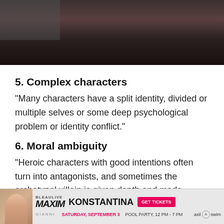[Figure (photo): Partial view of a person's face/chin area, dark background]
5. Complex characters
“Many characters have a split identity, divided or multiple selves or some deep psychological problem or identity conflict.”
6. Moral ambiguity
“Heroic characters with good intentions often turn into antagonists, and sometimes the archetypal villain is given depth and made sympathetic. Nolan often gives us a cruel world and [text obscured by ad] hed or m[text obscured by ad]
[Figure (photo): Advertisement banner: BLEAULIVE MAXIM KONSTANTINA GIANNI pool party event, Saturday September 3, 12PM-7PM, GET TICKETS button, axil swim logo]